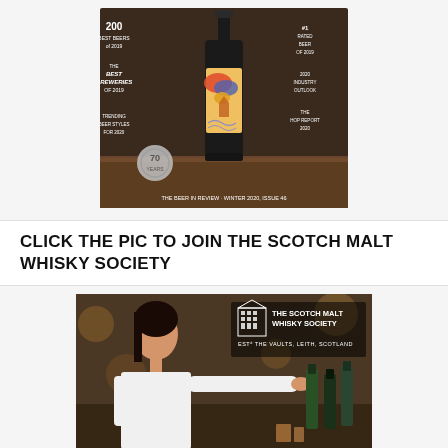[Figure (photo): Beer In Review magazine cover - Winter 2020, Issue 46. Shows a dark beer bottle with colorful abstract label against a dark background. Text on cover includes: 200 BEST BEERS of 2019, #1 RATED BEER OF 2019, THE BEST BREWERIES OF 2019, 2020 INDUSTRY OUTLOOK, TRENDING BEER STYLES FOR 2020, THE HOP REPORT 2020. Bottom text: THE BEER IN REVIEW - WINTER 2020, ISSUE 46.]
CLICK THE PIC TO JOIN THE SCOTCH MALT WHISKY SOCIETY
[Figure (photo): Photo of a young woman in white shirt reaching toward wine/whisky bottles on a bar. Overlay text shows THE SCOTCH MALT WHISKY SOCIETY logo with building icon, and ESTD THE VAULTS, LEITH, SCOTLAND.]